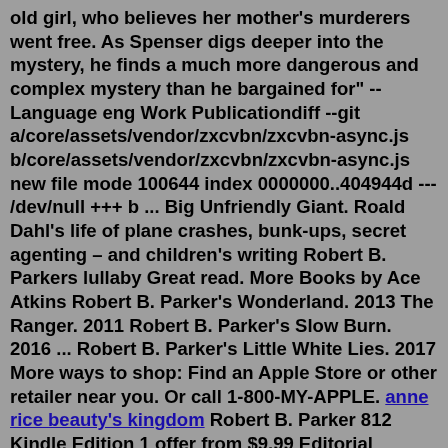old girl, who believes her mother's murderers went free. As Spenser digs deeper into the mystery, he finds a much more dangerous and complex mystery than he bargained for" -- Language eng Work Publicationdiff --git a/core/assets/vendor/zxcvbn/zxcvbn-async.js b/core/assets/vendor/zxcvbn/zxcvbn-async.js new file mode 100644 index 0000000..404944d --- /dev/null +++ b ... Big Unfriendly Giant. Roald Dahl's life of plane crashes, bunk-ups, secret agenting – and children's writing Robert B. Parkers lullaby Great read. More Books by Ace Atkins Robert B. Parker's Wonderland. 2013 The Ranger. 2011 Robert B. Parker's Slow Burn. 2016 ... Robert B. Parker's Little White Lies. 2017 More ways to shop: Find an Apple Store or other retailer near you. Or call 1-800-MY-APPLE. anne rice beauty's kingdom Robert B. Parker 812 Kindle Edition 1 offer from $9.99 Editorial Reviews Review Praise for Robert B. Parker's Lullaby "Handpicked by the Parker estate to be the keeper of the flame for the Spenser